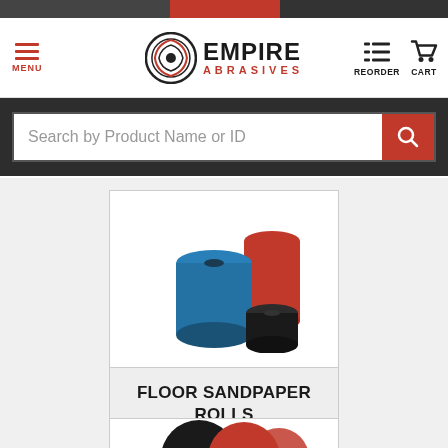[Figure (screenshot): Empire Abrasives e-commerce website header with logo, menu, reorder and cart icons]
Search by Product Name or ID
[Figure (photo): Three rolls of floor sandpaper in blue, red, and black colors]
FLOOR SANDPAPER ROLLS
[Figure (photo): Partial view of another abrasive product showing red and black disc/circle shapes at bottom of page]